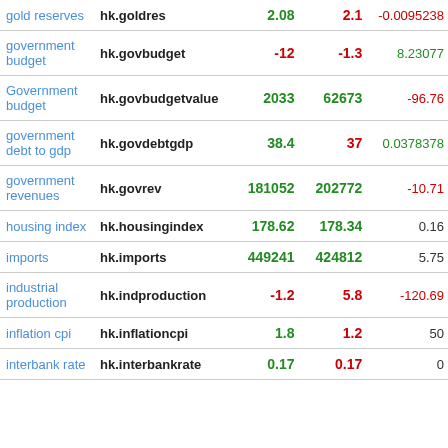| name | code | value1 | value2 | change |
| --- | --- | --- | --- | --- |
| gold reserves | hk.goldres | 2.08 | 2.1 | -0.0095238 |
| government budget | hk.govbudget | -12 | -1.3 | 8.23077 |
| Government budget | hk.govbudgetvalue | 2033 | 62673 | -96.76 |
| government debt to gdp | hk.govdebtgdp | 38.4 | 37 | 0.0378378 |
| government revenues | hk.govrev | 181052 | 202772 | -10.71 |
| housing index | hk.housingindex | 178.62 | 178.34 | 0.16 |
| imports | hk.imports | 449241 | 424812 | 5.75 |
| industrial production | hk.indproduction | -1.2 | 5.8 | -120.69 |
| inflation cpi | hk.inflationcpi | 1.8 | 1.2 | 50 |
| interbank rate | hk.interbankrate | 0.17 | 0.17 | 0 |